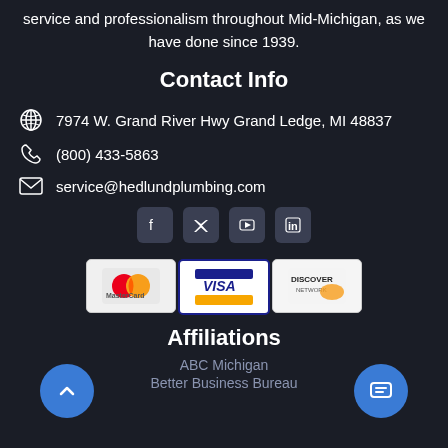service and professionalism throughout Mid-Michigan, as we have done since 1939.
Contact Info
7974 W. Grand River Hwy Grand Ledge, MI 48837
(800) 433-5863
service@hedlundplumbing.com
[Figure (illustration): Social media icons: Facebook, Twitter, YouTube, LinkedIn]
[Figure (illustration): Payment method logos: MasterCard, VISA, Discover Network]
Affiliations
ABC Michigan
Better Business Bureau